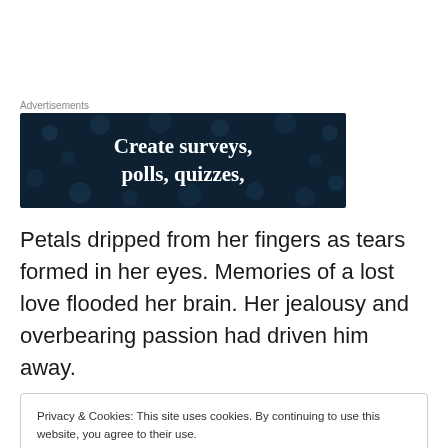Advertisements
[Figure (illustration): Dark navy blue advertisement banner with white bold serif text reading 'Create surveys, polls, quizzes,' with decorative dot pattern in background]
Petals dripped from her fingers as tears formed in her eyes. Memories of a lost love flooded her brain. Her jealousy and overbearing passion had driven him away.
Privacy & Cookies: This site uses cookies. By continuing to use this website, you agree to their use.
To find out more, including how to control cookies, see here: Cookie Policy
Close and accept